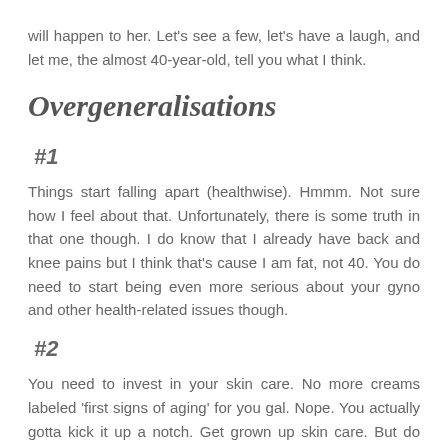will happen to her. Let's see a few, let's have a laugh, and let me, the almost 40-year-old, tell you what I think.
Overgeneralisations
#1
Things start falling apart (healthwise). Hmmm. Not sure how I feel about that. Unfortunately, there is some truth in that one though. I do know that I already have back and knee pains but I think that's cause I am fat, not 40. You do need to start being even more serious about your gyno and other health-related issues though.
#2
You need to invest in your skin care. No more creams labeled 'first signs of aging' for you gal. Nope. You actually gotta kick it up a notch. Get grown up skin care. But do you? I mean, for me, the best skin care breaks down to 5 things: